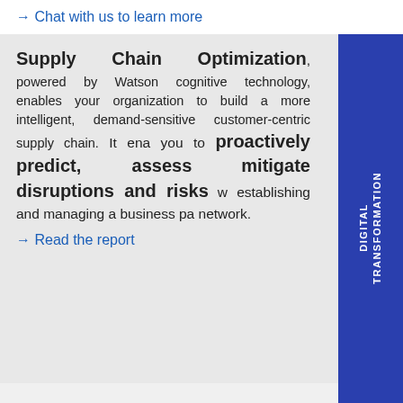→ Chat with us to learn more
Supply Chain Optimization, powered by Watson cognitive technology, enables your organization to build a more intelligent, demand-sensitive customer-centric supply chain. It enables you to proactively predict, assess and mitigate disruptions and risks while establishing and managing a business partner network.
→ Read the report
DIGITAL TRANSFORMATION
CONTACT US TO SCHEDULE YOUR
DIGITAL TRANSFORMATION